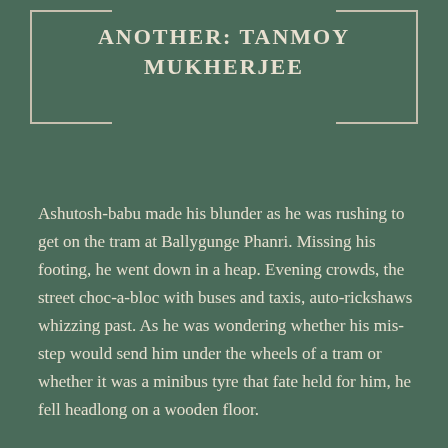ANOTHER: TANMOY MUKHERJEE
Ashutosh-babu made his blunder as he was rushing to get on the tram at Ballygunge Phanri. Missing his footing, he went down in a heap. Evening crowds, the street choc-a-bloc with buses and taxis, auto-rickshaws whizzing past. As he was wondering whether his mis-step would send him under the wheels of a tram or whether it was a minibus tyre that fate held for him, he fell headlong on a wooden floor.